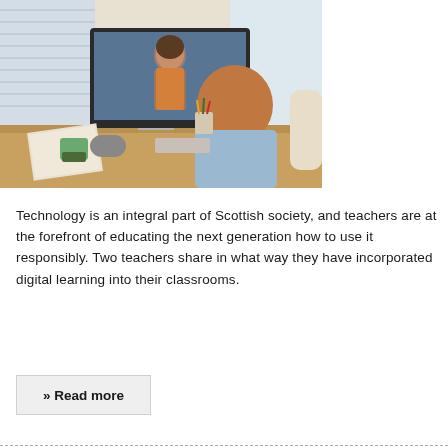[Figure (photo): A child with red hair sits at a wooden desk, viewed from behind, looking at a large computer monitor displaying a video call with a woman in an orange top. On the desk are notebooks, a keyboard, a vase with pencils, and a small plant. Window blinds are visible in the background.]
Technology is an integral part of Scottish society, and teachers are at the forefront of educating the next generation how to use it responsibly. Two teachers share in what way they have incorporated digital learning into their classrooms.
» Read more